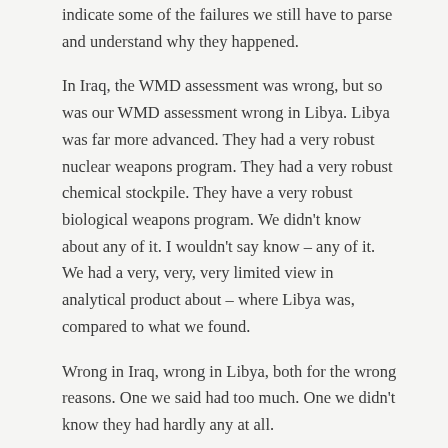indicate some of the failures we still have to parse and understand why they happened.
In Iraq, the WMD assessment was wrong, but so was our WMD assessment wrong in Libya. Libya was far more advanced. They had a very robust nuclear weapons program. They had a very robust chemical stockpile. They have a very robust biological weapons program. We didn't know about any of it. I wouldn't say know – any of it. We had a very, very, very limited view in analytical product about – where Libya was, compared to what we found.
Wrong in Iraq, wrong in Libya, both for the wrong reasons. One we said had too much. One we didn't know they had hardly any at all.